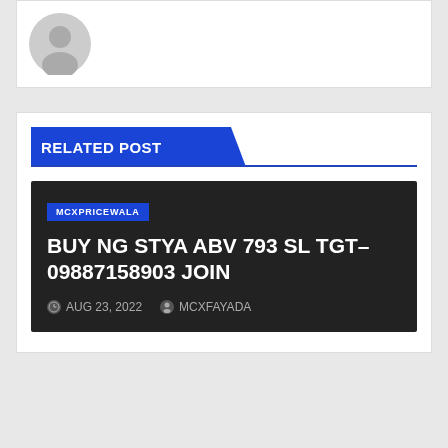[Figure (photo): Generic user avatar placeholder circle with person silhouette on grey background inside a white card]
RELATED POST
[Figure (photo): Dark background post card with blue MCXPRICEWALA tag badge]
BUY NG STYA ABV 793 SL TGT–09887158903 JOIN
AUG 23, 2022   MCXFAYADA